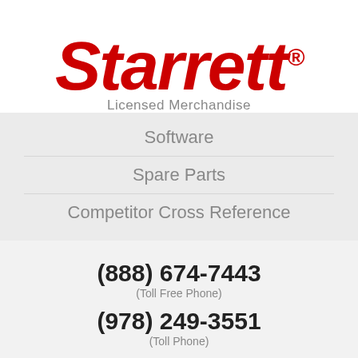[Figure (logo): Starrett logo in red italic bold text with registered trademark symbol]
Licensed Merchandise
Software
Spare Parts
Competitor Cross Reference
(888) 674-7443
(Toll Free Phone)
(978) 249-3551
(Toll Phone)
(978) 249-8495
(Fax)